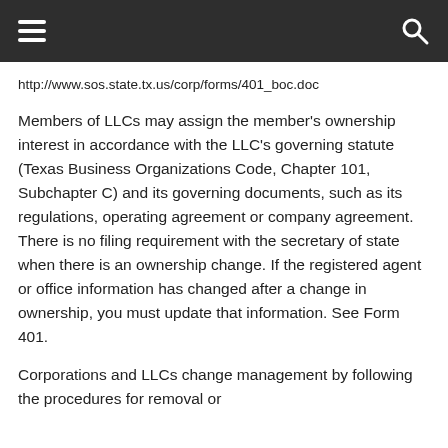≡  [search icon]
http://www.sos.state.tx.us/corp/forms/401_boc.doc
Members of LLCs may assign the member's ownership interest in accordance with the LLC's governing statute (Texas Business Organizations Code, Chapter 101, Subchapter C) and its governing documents, such as its regulations, operating agreement or company agreement. There is no filing requirement with the secretary of state when there is an ownership change. If the registered agent or office information has changed after a change in ownership, you must update that information. See Form 401.
Corporations and LLCs change management by following the procedures for removal or